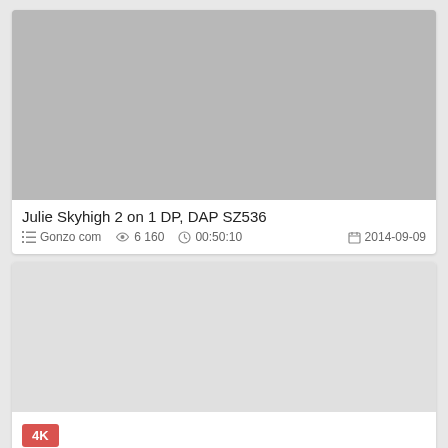[Figure (photo): Thumbnail image for video card 1]
Julie Skyhigh 2 on 1 DP, DAP SZ536
Gonzo com  6 160  00:50:10  2014-09-09
[Figure (photo): Thumbnail image for video card 2 with 4K badge]
4K